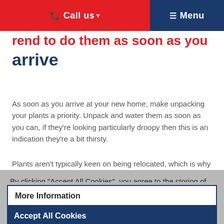Call us ▾   ≡ Menu
rend to do them as soon as you arrive
As soon as you arrive at your new home, make unpacking your plants a priority. Unpack and water them as soon as you can, if they're looking particularly droopy then this is an indication they're a bit thirsty.
Plants aren't typically keen on being relocated, which is why
By clicking "Accept All Cookies", you agree to the storing of cookies on your device to enhance site navigation, analyse site usage, assist in our marketing efforts, and for personalised advertising.
More Information
Accept All Cookies